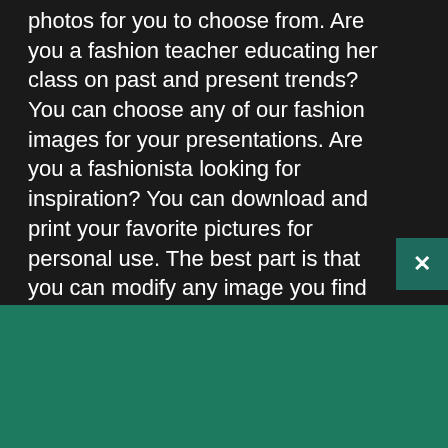photos for you to choose from. Are you a fashion teacher educating her class on past and present trends? You can choose any of our fashion images for your presentations. Are you a fashionista looking for inspiration? You can download and print your favorite pictures for personal use. The best part is that you can modify any image you find on our website as per our Creative Commons Zero license.
Our models know how to strut their stuff. Our fashion photographers have been hustling hard to create the perfect fashion pictures for you to use. They're
[Figure (logo): Shopify logo - white shopping bag icon with 'shopify' text in white on green background]
Need an online store for your business?
Start free trial